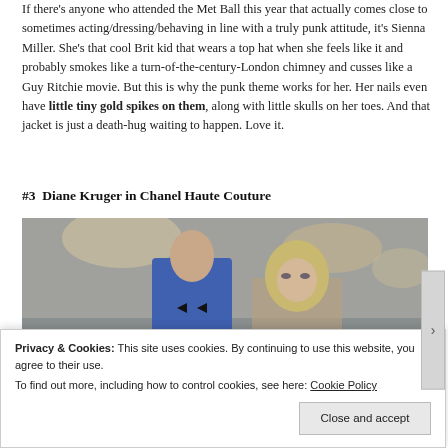If there's anyone who attended the Met Ball this year that actually comes close to sometimes acting/dressing/behaving in line with a truly punk attitude, it's Sienna Miller.  She's that cool Brit kid that wears a top hat when she feels like it and probably smokes like a turn-of-the-century-London chimney and cusses like a Guy Ritchie movie.  But this is why the punk theme works for her.  Her nails even have little tiny gold spikes on them, along with  little skulls on her toes.  And that jacket is just a death-hug waiting to happen.  Love it.
#3  Diane Kruger in Chanel Haute Couture
[Figure (photo): Photo of Diane Kruger and a man in a blue tuxedo at the Met Ball event, in front of draped white fabric backdrop with warm lighting]
Privacy & Cookies: This site uses cookies. By continuing to use this website, you agree to their use.
To find out more, including how to control cookies, see here: Cookie Policy
Close and accept